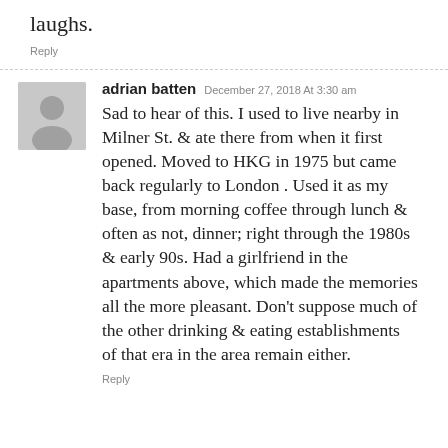laughs.
Reply
adrian batten  December 27, 2018 At 3:30 am
Sad to hear of this. I used to live nearby in Milner St. & ate there from when it first opened. Moved to HKG in 1975 but came back regularly to London . Used it as my base, from morning coffee through lunch & often as not, dinner; right through the 1980s & early 90s. Had a girlfriend in the apartments above, which made the memories all the more pleasant. Don't suppose much of the other drinking & eating establishments of that era in the area remain either.
Reply